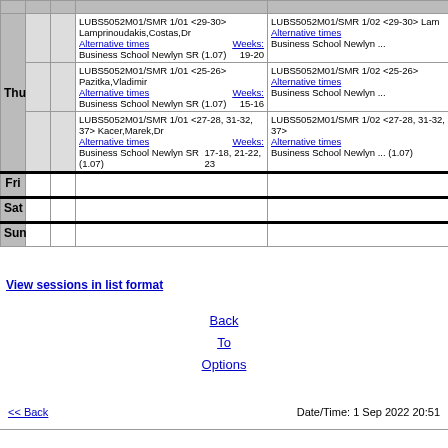|  |  |  | Session/Instructor | Session/Instructor |
| --- | --- | --- | --- | --- |
| Thu |  |  | LUBS5052M01/SMR 1/01 <29-30> Lamprinoudakis,Costas,Dr | Alternative times | Weeks: | Business School Newlyn SR (1.07) 19-20 | LUBS5052M01/SMR 1/02 <29-30> Lam... | Alternative times | Business School Newlyn ... |
|  |  |  | LUBS5052M01/SMR 1/01 <25-26> Pazitka,Vladimir | Alternative times | Weeks: | Business School Newlyn SR (1.07) 15-16 | LUBS5052M01/SMR 1/02 <25-26> | Alternative times | Business School Newlyn ... |
|  |  |  | LUBS5052M01/SMR 1/01 <27-28, 31-32, 37> Kacer,Marek,Dr | Alternative times | Weeks: | Business School Newlyn SR (1.07) 17-18, 21-22, 23 | LUBS5052M01/SMR 1/02 <27-28, 31-32, 37> | Alternative times | Business School Newlyn ... (1.07) |
| Fri |  |  |  |  |
| Sat |  |  |  |  |
| Sun |  |  |  |  |
View sessions in list format
Back To Options
<< Back | Date/Time: 1 Sep 2022 20:51